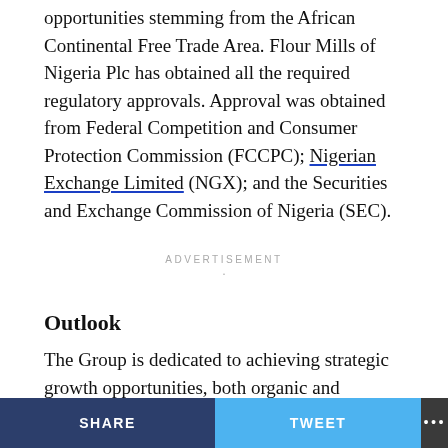opportunities stemming from the African Continental Free Trade Area. Flour Mills of Nigeria Plc has obtained all the required regulatory approvals. Approval was obtained from Federal Competition and Consumer Protection Commission (FCCPC); Nigerian Exchange Limited (NGX); and the Securities and Exchange Commission of Nigeria (SEC).
ADVERTISEMENT ·
Outlook
The Group is dedicated to achieving strategic growth opportunities, both organic and inorganic, within the sector. The Group remains committed to executing its
SHARE   TWEET   •••